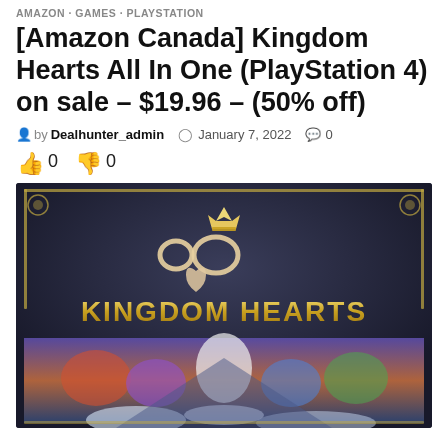AMAZON · GAMES · PLAYSTATION
[Amazon Canada] Kingdom Hearts All In One (PlayStation 4) on sale – $19.96 – (50% off)
by Dealhunter_admin  January 7, 2022  0
👍 0  👎 0
[Figure (photo): Kingdom Hearts All In One PlayStation 4 game cover art featuring the Kingdom Hearts logo with heart and crown symbol, gold lettering 'KINGDOM HEARTS' on dark background, with colorful character artwork below.]